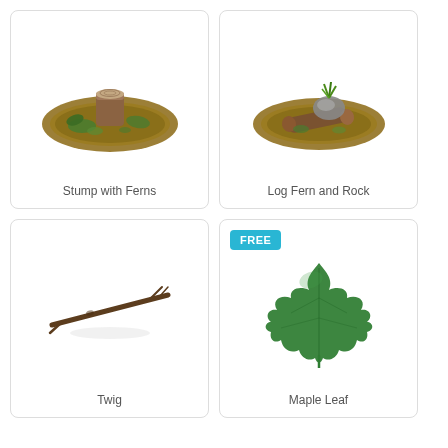[Figure (illustration): 3D illustration of a tree stump with ferns on a mossy ground patch]
Stump with Ferns
[Figure (illustration): 3D illustration of a log, fern and rock on a mossy ground patch]
Log Fern and Rock
[Figure (illustration): 3D illustration of a twig]
Twig
[Figure (illustration): Photo of a maple leaf (green)]
Maple Leaf